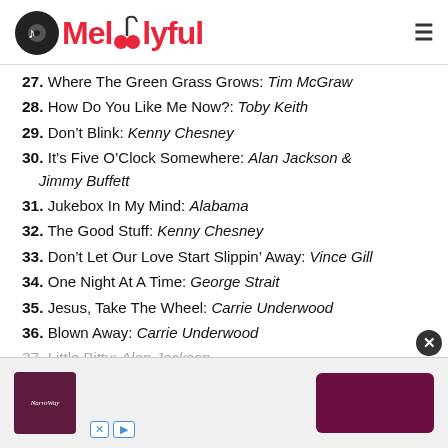Melodyful
27. Where The Green Grass Grows: Tim McGraw
28. How Do You Like Me Now?: Toby Keith
29. Don't Blink: Kenny Chesney
30. It's Five O'Clock Somewhere: Alan Jackson & Jimmy Buffett
31. Jukebox In My Mind: Alabama
32. The Good Stuff: Kenny Chesney
33. Don't Let Our Love Start Slippin' Away: Vince Gill
34. One Night At A Time: George Strait
35. Jesus, Take The Wheel: Carrie Underwood
36. Blown Away: Carrie Underwood
37. Little Bitty: Alan Jackson
38. Blue Clear Sky: George Strait
39.
40.
[Figure (screenshot): Ad banner at bottom of page with album art and playback icons]